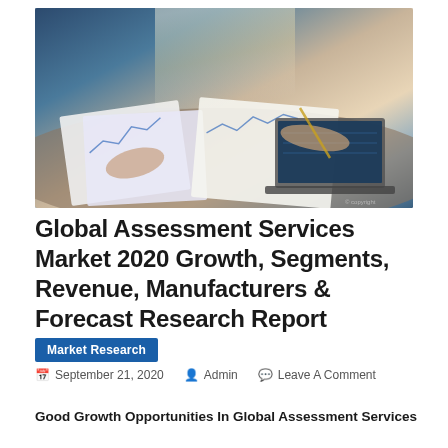[Figure (photo): Two people reviewing financial charts and documents on a desk with a laptop, business meeting scene]
Global Assessment Services Market 2020 Growth, Segments, Revenue, Manufacturers & Forecast Research Report
Market Research
September 21, 2020   Admin   Leave A Comment
Good Growth Opportunities In Global Assessment Services